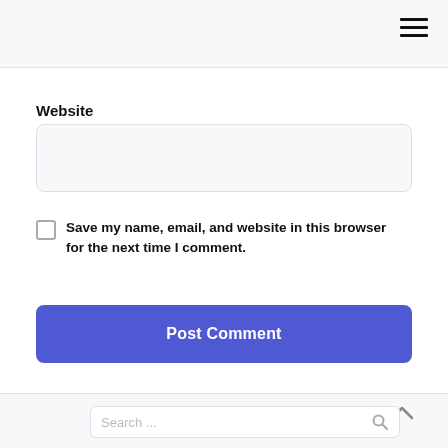[Figure (screenshot): Top navigation bar with hamburger menu icon (three horizontal lines) on the right side, light gray background]
Website
[Figure (screenshot): Website text input field, light gray background with rounded corners]
Save my name, email, and website in this browser for the next time I comment.
Post Comment
[Figure (screenshot): Bottom panel with chevron up icon and search bar with placeholder text 'Search ...' and search icon]